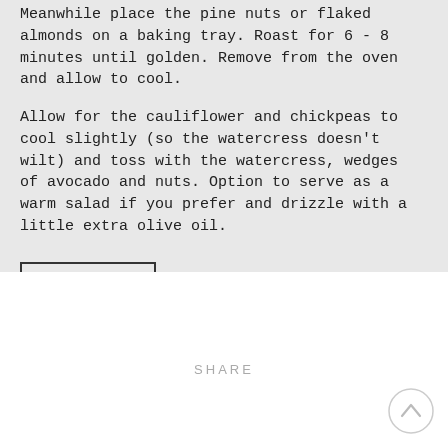Meanwhile place the pine nuts or flaked almonds on a baking tray. Roast for 6 - 8 minutes until golden. Remove from the oven and allow to cool.
Allow for the cauliflower and chickpeas to cool slightly (so the watercress doesn't wilt) and toss with the watercress, wedges of avocado and nuts. Option to serve as a warm salad if you prefer and drizzle with a little extra olive oil.
Print Recipe
SHARE